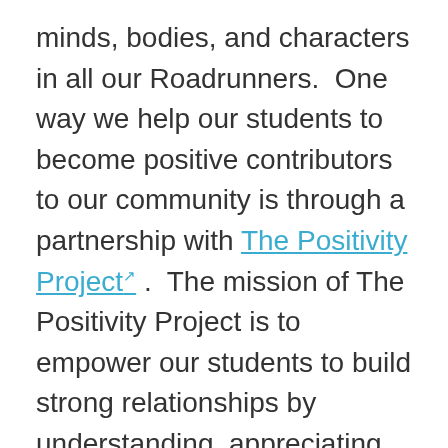minds, bodies, and characters in all our Roadrunners.  One way we help our students to become positive contributors to our community is through a partnership with The Positivity Project↗ .  The mission of The Positivity Project is to empower our students to build strong relationships by understanding, appreciating, and living out 24 character strengths in us all. Over the course of the year, students will learn to recognize and develop these positive traits in themselves and others, focusing on a new character strength each week.  We hope you will ask your children about these traits and help them to understand how to become model citizens in our community. Together we will create